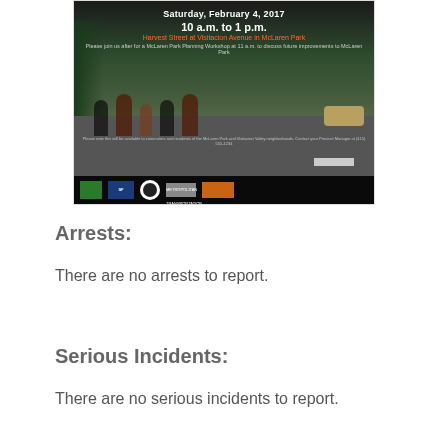[Figure (photo): Event flyer photo showing people walking and cycling on a road near McLaren Park with event details: Saturday, February 4, 2017, 10 a.m. to 1 p.m., Harvest Street at Visitacion Avenue in McLaren Park. Logos of SF Public Works, MTA, and other organizations at bottom.]
Arrests:
There are no arrests to report.
Serious Incidents:
There are no serious incidents to report.